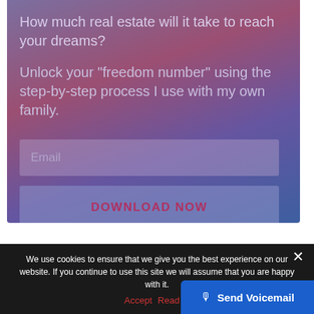[Figure (screenshot): Gradient background banner (purple-pink-blue) with headline text, email input field, and download button]
How much real estate will it take to reach your dreams?
Unlock your "freedom number" using the step-by-step process I use with my own family.
Email
DOWNLOAD NOW
We use cookies to ensure that we give you the best experience on our website. If you continue to use this site we will assume that you are happy with it.
Accept   Read M...
Send Voicemail